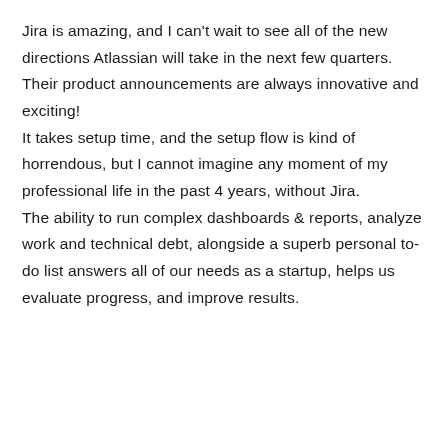Jira is amazing, and I can't wait to see all of the new directions Atlassian will take in the next few quarters. Their product announcements are always innovative and exciting!
It takes setup time, and the setup flow is kind of horrendous, but I cannot imagine any moment of my professional life in the past 4 years, without Jira.
The ability to run complex dashboards & reports, analyze work and technical debt, alongside a superb personal to-do list answers all of our needs as a startup, helps us evaluate progress, and improve results.